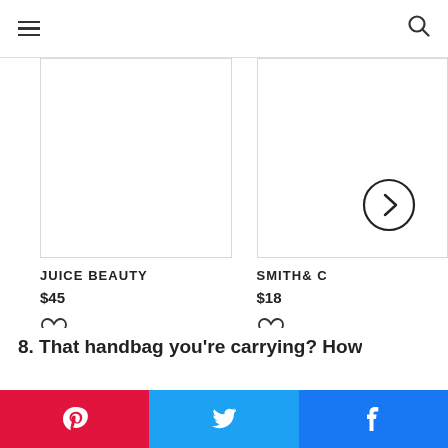Navigation header with hamburger menu and search icon
[Figure (screenshot): Product image placeholder for Juice Beauty product - white/empty box]
JUICE BEAUTY
$45
[Figure (screenshot): Product image placeholder for Smith & C product - white/empty box with right-arrow circle button]
SMITH& C
$18
8. That handbag you're carrying? How
Social share bar: Pinterest, Twitter, Facebook